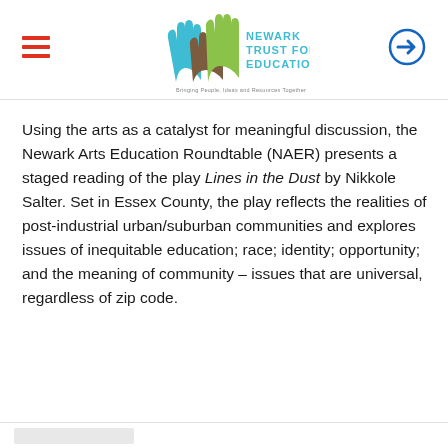Newark Trust for Education — site header with logo and navigation
Using the arts as a catalyst for meaningful discussion, the Newark Arts Education Roundtable (NAER) presents a staged reading of the play Lines in the Dust by Nikkole Salter. Set in Essex County, the play reflects the realities of post-industrial urban/suburban communities and explores issues of inequitable education; race; identity; opportunity; and the meaning of community – issues that are universal, regardless of zip code.